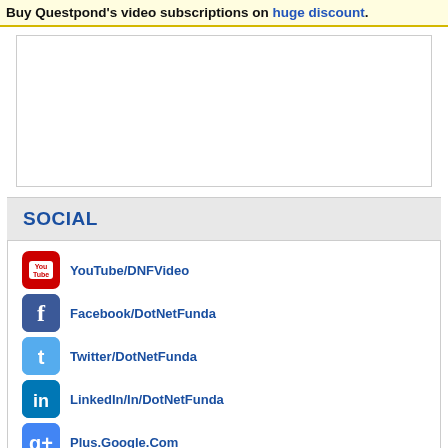Buy Questpond's video subscriptions on huge discount.
[Figure (other): Advertisement/empty box area]
SOCIAL
YouTube/DNFVideo
Facebook/DotNetFunda
Twitter/DotNetFunda
LinkedIn/In/DotNetFunda
Plus.Google.Com